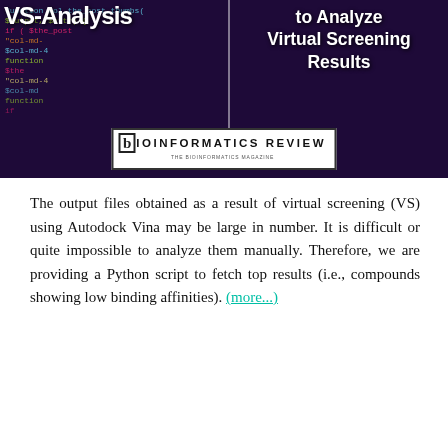[Figure (screenshot): Banner image showing code editor with colorful syntax-highlighted code on dark purple background. Left side shows partial text 'VS-Analysis', right side shows bold white text 'to Analyze Virtual Screening Results'. Bottom center shows Bioinformatics Review logo in white box.]
The output files obtained as a result of virtual screening (VS) using Autodock Vina may be large in number. It is difficult or quite impossible to analyze them manually. Therefore, we are providing a Python script to fetch top results (i.e., compounds showing low binding affinities). (more...)